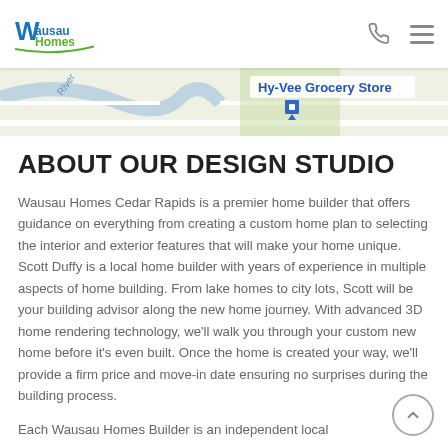Wausau Homes — navigation bar with logo, phone icon, and hamburger menu
[Figure (map): Partial map screenshot showing 'Hy-Vee Grocery Store' label and river overlay, green and tan roads]
ABOUT OUR DESIGN STUDIO
Wausau Homes Cedar Rapids is a premier home builder that offers guidance on everything from creating a custom home plan to selecting the interior and exterior features that will make your home unique. Scott Duffy is a local home builder with years of experience in multiple aspects of home building. From lake homes to city lots, Scott will be your building advisor along the new home journey. With advanced 3D home rendering technology, we'll walk you through your custom new home before it's even built. Once the home is created your way, we'll provide a firm price and move-in date ensuring no surprises during the building process.
Each Wausau Homes Builder is an independent local